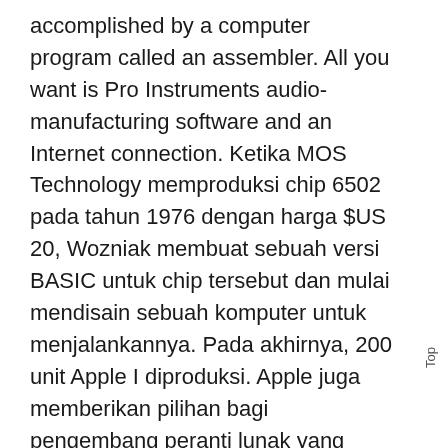accomplished by a computer program called an assembler. All you want is Pro Instruments audio-manufacturing software and an Internet connection. Ketika MOS Technology memproduksi chip 6502 pada tahun 1976 dengan harga $US 20, Wozniak membuat sebuah versi BASIC untuk chip tersebut dan mulai mendisain sebuah komputer untuk menjalankannya. Pada akhirnya, 200 unit Apple I diproduksi. Apple juga memberikan pilihan bagi pengembang peranti lunak yang lama untuk menggunakan teknologi Carbon agar program mereka bisa diadaptasi secara langsung ke dalam Mac OS X. Dengan
Top